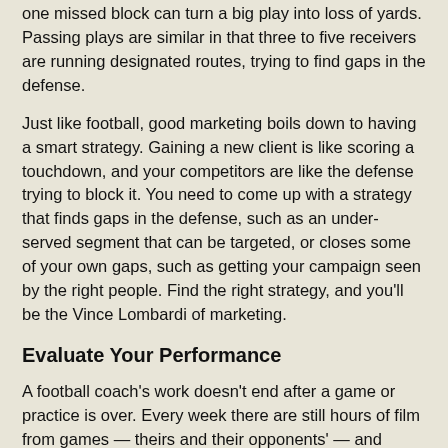one missed block can turn a big play into loss of yards. Passing plays are similar in that three to five receivers are running designated routes, trying to find gaps in the defense.
Just like football, good marketing boils down to having a smart strategy. Gaining a new client is like scoring a touchdown, and your competitors are like the defense trying to block it. You need to come up with a strategy that finds gaps in the defense, such as an under-served segment that can be targeted, or closes some of your own gaps, such as getting your campaign seen by the right people. Find the right strategy, and you'll be the Vince Lombardi of marketing.
Evaluate Your Performance
A football coach's work doesn't end after a game or practice is over. Every week there are still hours of film from games — theirs and their opponents' — and practices to pore over and evaluate. Coaches watch film to find the strengths and weaknesses of both their team and the opposing teams. Watching film is a crucial part of building a sound strategy and being prepared for any given game.